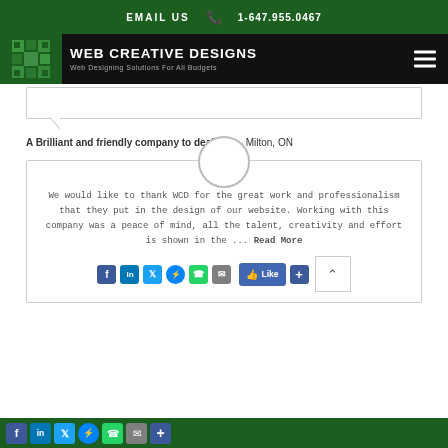EMAIL US   1-647.955.0467
WEB CREATIVE DESIGNS
Web Designing Solutions For All Budgets
A Brilliant and friendly company to deal with - Milton, ON
We would like to thank WCD for the great work and professionalism that they put in the design of our website. Working with this company was a peace of mind, all the talent, creativity and effort is shown in the ... Read More